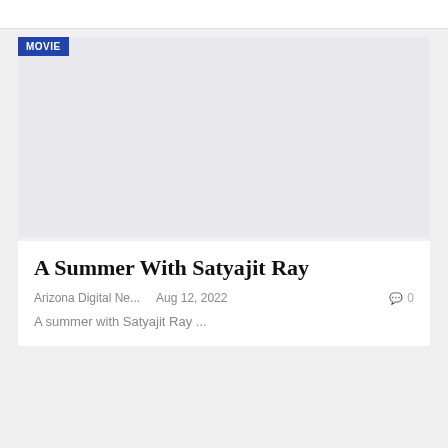[Figure (photo): Gray placeholder image area with a blue MOVIE badge in the top-left corner]
A Summer With Satyajit Ray
Arizona Digital Ne...   Aug 12, 2022   0
A summer with Satyajit Ray ...